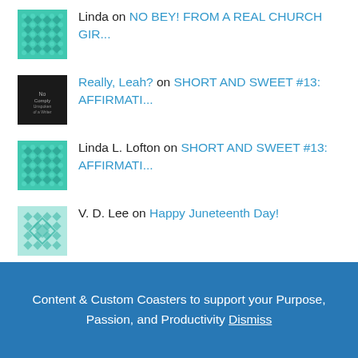Linda on NO BEY! FROM A REAL CHURCH GIR...
Really, Leah? on SHORT AND SWEET #13: AFFIRMATI...
Linda L. Lofton on SHORT AND SWEET #13: AFFIRMATI...
V. D. Lee on Happy Juneteenth Day!
Archives
Select Month
Content & Custom Coasters to support your Purpose, Passion, and Productivity Dismiss